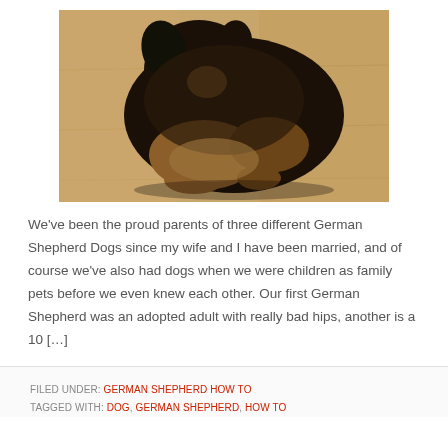[Figure (photo): A German Shepherd puppy lying on a wooden floor, viewed from above. The puppy has black and tan fur.]
We've been the proud parents of three different German Shepherd Dogs since my wife and I have been married, and of course we've also had dogs when we were children as family pets before we even knew each other. Our first German Shepherd was an adopted adult with really bad hips, another is a 10 […]
FILED UNDER: GERMAN SHEPHERD HOW TO
TAGGED WITH: DOG, GERMAN SHEPHERD, HOW TO